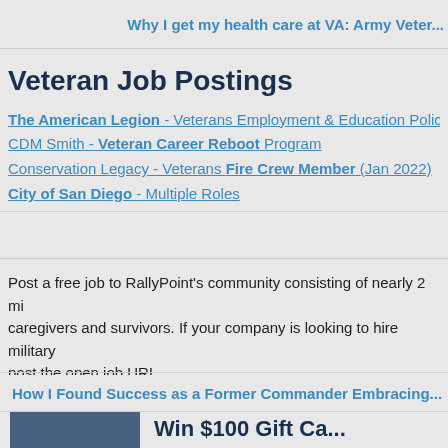Why I get my health care at VA: Army Veter...
Veteran Job Postings
The American Legion - Veterans Employment & Education Policy
CDM Smith - Veteran Career Reboot Program
Conservation Legacy - Veterans Fire Crew Member (Jan 2022)
City of San Diego - Multiple Roles
Post a free job to RallyPoint's community consisting of nearly 2 mi... caregivers and survivors. If your company is looking to hire military... post the open job URL.
POST FREE JOB
How I Found Success as a Former Commander Embracing...
[Figure (photo): Photo of military personnel]